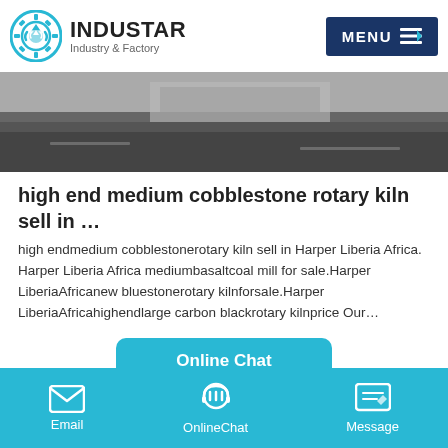INDUSTAR Industry & Factory
[Figure (photo): Hero image showing an industrial/outdoor scene with grey tones]
high end medium cobblestone rotary kiln sell in …
high endmedium cobblestonerotary kiln sell in Harper Liberia Africa. Harper Liberia Africa mediumbasaltcoal mill for sale.Harper LiberiaAfricanew bluestonerotary kilnforsale.Harper LiberiaAfricahighendlarge carbon blackrotary kilnprice Our…
[Figure (other): Online Chat button - cyan rounded rectangle]
[Figure (photo): Close-up photo of metallic cobblestone or pellets in grey tones with cyan chevron up arrows overlay]
Email   OnlineChat   Message